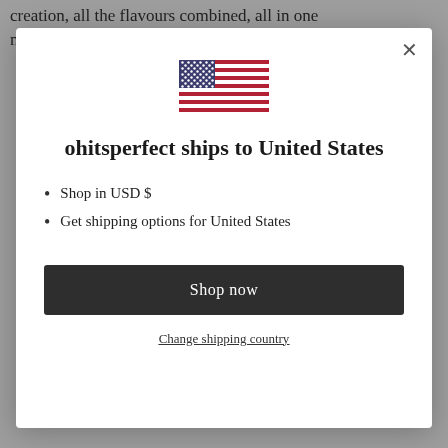creation, all the flavours combined, all in one mouthful, can I just say I think my tastebuds
[Figure (illustration): US flag SVG illustration shown inside modal dialog]
ohitsperfect ships to United States
Shop in USD $
Get shipping options for United States
Shop now
Change shipping country